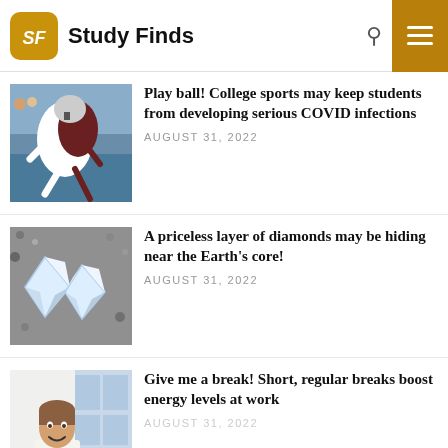Study Finds
Play ball! College sports may keep students from developing serious COVID infections
AUGUST 31, 2022
[Figure (photo): Two football players tackling during a college football game]
A priceless layer of diamonds may be hiding near the Earth's core!
AUGUST 31, 2022
[Figure (photo): Two large cut diamonds on a gray rocky background]
Give me a break! Short, regular breaks boost energy levels at work
AUGUST 31, 2022
[Figure (photo): Man smiling at desk in office setting with coffee cup]